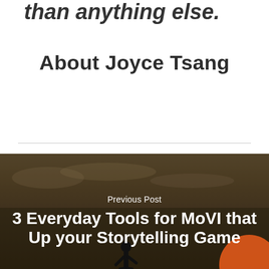than anything else.
About Joyce Tsang
[Figure (photo): Dark background image of a silhouette against a sunset/dusk sky with an orange circle element, serving as the background for the Previous Post section]
Previous Post
3 Everyday Tools for MoVI that Up your Storytelling Game